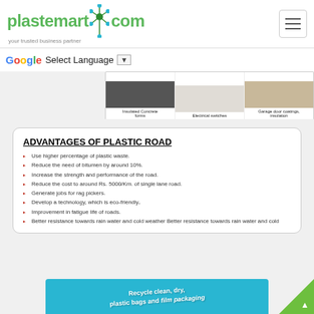plastemart.com - your trusted business partner
[Figure (screenshot): Google Translate language selector bar with 'Select Language' dropdown]
[Figure (screenshot): Banner strip showing product images: Insulated Concrete forms, Electrical switches, Garage door coatings insulation]
ADVANTAGES OF PLASTIC ROAD
Use higher percentage of plastic waste.
Reduce the need of bitumen by around 10%.
Increase the strength and performance of the road.
Reduce the cost to around Rs. 5000/Km. of single lane road.
Generate jobs for rag pickers.
Develop a technology, which is eco-friendly.
Improvement in fatigue life of roads.
Better resistance towards rain water and cold weather Better resistance towards rain water and cold
[Figure (infographic): Recycle clean, dry plastic bags and film packaging infographic on blue background]